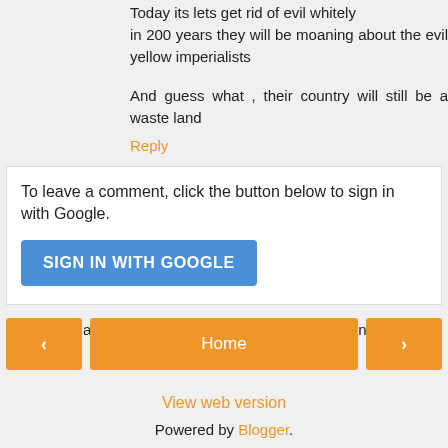Today its lets get rid of evil whitely in 200 years they will be moaning about the evil yellow imperialists
And guess what , their country will still be a waste land
Reply
To leave a comment, click the button below to sign in with Google.
SIGN IN WITH GOOGLE
Note: Only a member of this blog may post a comment.
< Home >
View web version
Powered by Blogger.